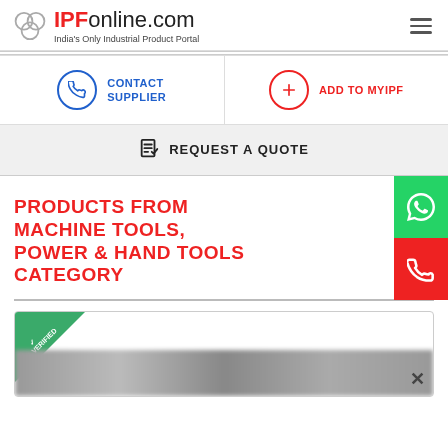IPFonline.com — India's Only Industrial Product Portal
CONTACT SUPPLIER
ADD TO MYIPF
REQUEST A QUOTE
PRODUCTS FROM MACHINE TOOLS, POWER & HAND TOOLS CATEGORY
[Figure (screenshot): Product card with verified badge and blurred product image, with a close button]